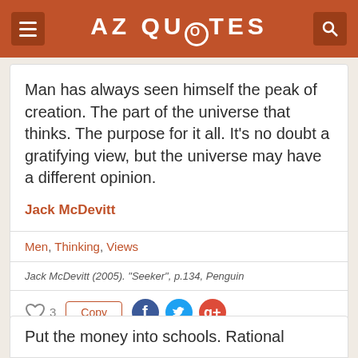AZ QUOTES
Man has always seen himself the peak of creation. The part of the universe that thinks. The purpose for it all. It's no doubt a gratifying view, but the universe may have a different opinion.
Jack McDevitt
Men, Thinking, Views
Jack McDevitt (2005). "Seeker", p.134, Penguin
Put the money into schools. Rational